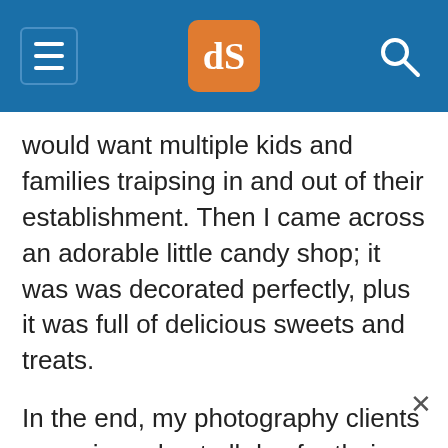dPS (logo)
would want multiple kids and families traipsing in and out of their establishment. Then I came across an adorable little candy shop; it was was decorated perfectly, plus it was full of delicious sweets and treats.
In the end, my photography clients came in and out all day for their sessions, and they ended up buying lots of candy in the process. Many who came had never noticed the little hometown shop with homemade caramel apples and every